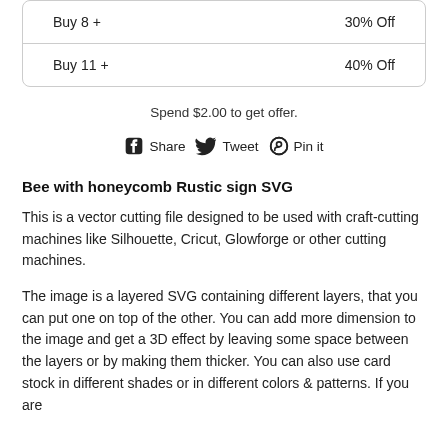| Quantity | Discount |
| --- | --- |
| Buy 8 + | 30% Off |
| Buy 11 + | 40% Off |
Spend $2.00 to get offer.
Share  Tweet  Pin it
Bee with honeycomb Rustic sign SVG
This is a vector cutting file designed to be used with craft-cutting machines like Silhouette, Cricut, Glowforge or other cutting machines.
The image is a layered SVG containing different layers, that you can put one on top of the other. You can add more dimension to the image and get a 3D effect by leaving some space between the layers or by making them thicker. You can also use card stock in different shades or in different colors & patterns. If you are